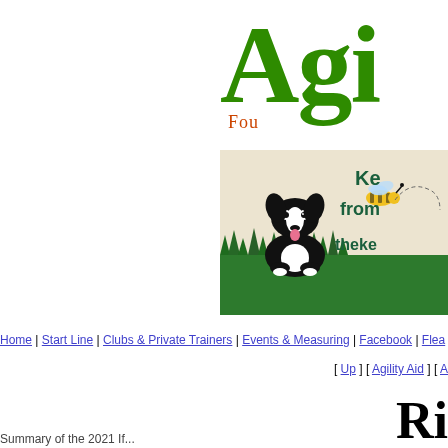[Figure (logo): Partial green serif logo text 'Agi' with subtitle 'Fou...' in red/orange, agility website logo]
[Figure (illustration): Banner ad showing a cartoon black and white border collie dog sitting in green grass with a cartoon bee flying nearby, text reads 'Ke from theke']
Home | Start Line | Clubs & Private Trainers | Events & Measuring | Facebook | Flea...
[ Up ] [ Agility Aid ] [ A...
Ri...
Summary of the 2021 If...